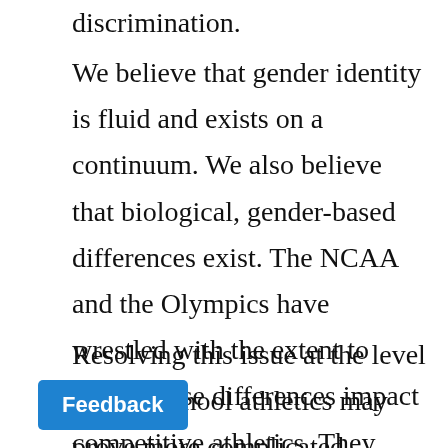discrimination.
We believe that gender identity is fluid and exists on a continuum. We also believe that biological, gender-based differences exist. The NCAA and the Olympics have wrestled with the extent to which these differences impact competitive athletics. They appear to have come to the conclusion that having been born male does not, in itself, confer an unfair advantage to transgender women.
Resolving this issue at the level of high school athletics may prove more complicated, because the athletes may be at an earlier stage of transition. We would [gainst attempts to resolve the issue